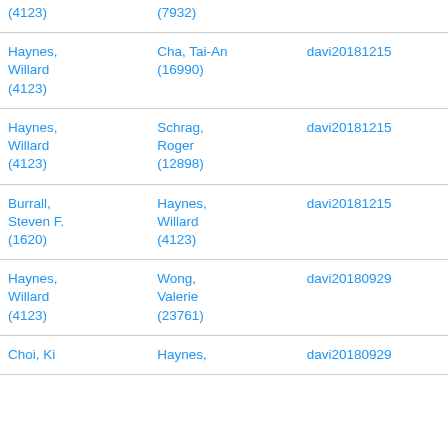| (4123) | (7932) |  |
| Haynes, Willard
(4123) | Cha, Tai-An
(16990) | davi20181215 |
| Haynes, Willard
(4123) | Schrag, Roger
(12898) | davi20181215 |
| Burrall, Steven F.
(1620) | Haynes, Willard
(4123) | davi20181215 |
| Haynes, Willard
(4123) | Wong, Valerie
(23761) | davi20180929 |
| Choi, Ki… | Haynes… | davi20180929 |